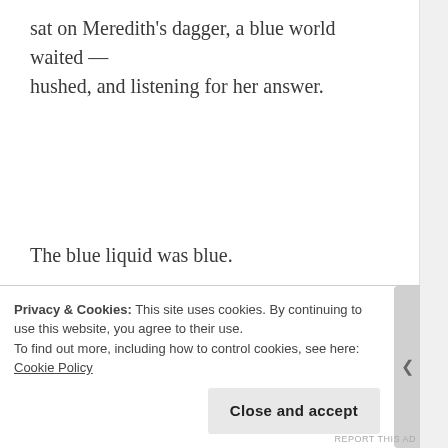sat on Meredith's dagger, a blue world waited — hushed, and listening for her answer.
The blue liquid was blue.
It was unconcerned.
[Story on Demand for Belle of Mountains. ]
Privacy & Cookies: This site uses cookies. By continuing to use this website, you agree to their use.
To find out more, including how to control cookies, see here: Cookie Policy
Close and accept